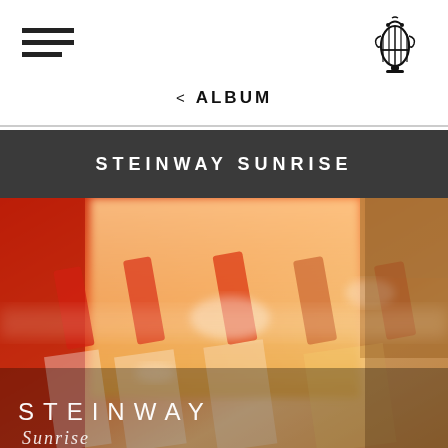≡  < ALBUM
STEINWAY SUNRISE
[Figure (photo): Close-up abstract photo of piano keys bathed in warm orange and gold sunrise light, with the Steinway logo and 'Sunrise' text overlaid at the bottom left.]